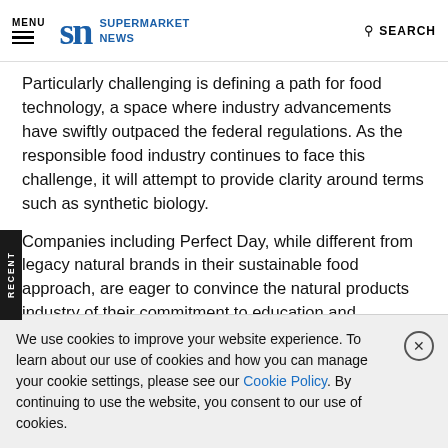MENU | SN SUPERMARKET NEWS | SEARCH
Particularly challenging is defining a path for food technology, a space where industry advancements have swiftly outpaced the federal regulations. As the responsible food industry continues to face this challenge, it will attempt to provide clarity around terms such as synthetic biology.
Companies including Perfect Day, while different from legacy natural brands in their sustainable food approach, are eager to convince the natural products industry of their commitment to education and transparency. Beyond definitions, developing quality and transparency standards that are embraced by
We use cookies to improve your website experience. To learn about our use of cookies and how you can manage your cookie settings, please see our Cookie Policy. By continuing to use the website, you consent to our use of cookies.